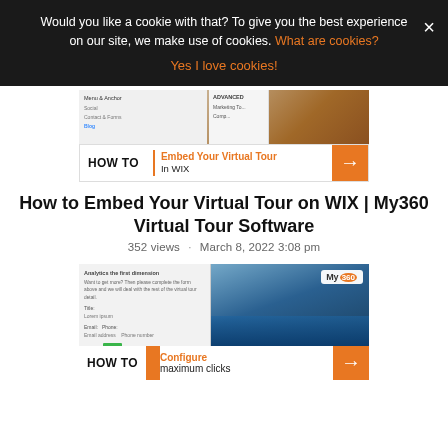Would you like a cookie with that? To give you the best experience on our site, we make use of cookies. What are cookies? Yes I love cookies!
[Figure (screenshot): HOW TO | Embed Your Virtual Tour In WIX - thumbnail card with UI screenshot and orange arrow button]
How to Embed Your Virtual Tour on WIX | My360 Virtual Tour Software
352 views · March 8, 2022 3:08 pm
[Figure (screenshot): HOW TO | Configure maximum clicks - thumbnail card with pool photo, My360 logo, and orange arrow button]